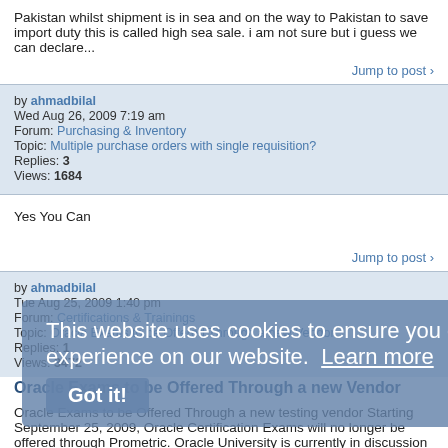Pakistan whilst shipment is in sea and on the way to Pakistan to save import duty this is called high sea sale. i am not sure but i guess we can declare...
Jump to post
by ahmadbilal
Wed Aug 26, 2009 7:19 am
Forum: Purchasing & Inventory
Topic: Multiple purchase orders with single requisition?
Replies: 3
Views: 1684
Yes You Can
Jump to post
by ahmadbilal
Tue Aug 25, 2009 1:40 pm
Forum: Certifications & Trainings
Topic: Oracle Exams to be Offered Through a new Vendor
Replies: 1
Views: 3472
Oracle Exams to be Offered Through a new Vendor
Oracle Exams to be Offered Through a new testing vendor Starting September 25, 2009, Oracle Certification Exams will no longer be offered through Prometric. Oracle University is currently in discussion with a new testing vendor to finalize a new partnership. We therefore expect to make
This website uses cookies to ensure you get the best experience on our website. Learn more Got it!